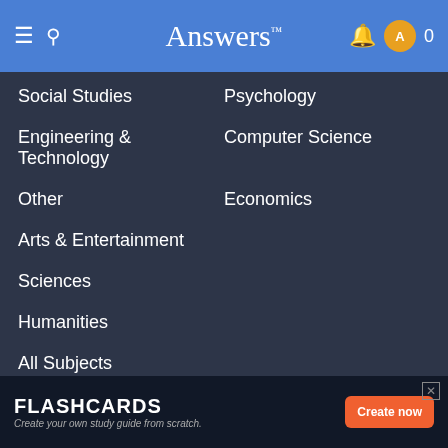Answers
Social Studies
Psychology
Engineering & Technology
Computer Science
Other
Economics
Arts & Entertainment
Sciences
Humanities
All Subjects
Product
Company
Blog
Contact Us
Community Guidelines
Terms of Use
FLASHCARDS Create your own study guide from scratch. Create now